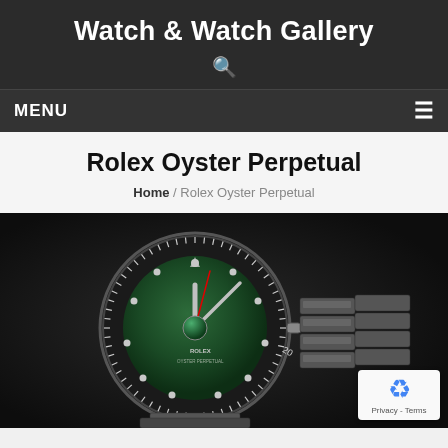Watch & Watch Gallery
MENU
Rolex Oyster Perpetual
Home / Rolex Oyster Perpetual
[Figure (photo): Close-up photo of a Rolex Submariner watch with a green dial and black bezel, shown against a dark background. A reCAPTCHA badge is visible in the bottom-right corner with 'Privacy - Terms' text.]